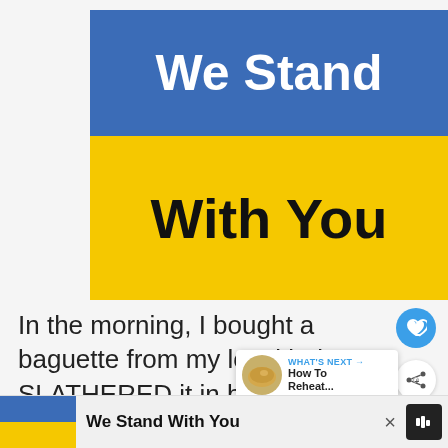[Figure (illustration): Advertisement banner with Ukrainian flag colors (blue top half, yellow bottom half). Blue section reads 'We Stand' in bold white text. Yellow section reads 'With You' in bold black text. An X close button appears in the top-right corner.]
[Figure (illustration): Heart icon button (white heart on blue circle) and share icon button (white circle with share symbol) on the right side.]
In the morning, I bought a baguette from my local bakery, SLATHERED it in butter, and cooked it. I added some ch
[Figure (screenshot): WHAT'S NEXT popup with a small circular food image thumbnail on the left and text 'WHAT'S NEXT → How To Reheat...' on the right.]
[Figure (illustration): Bottom sticky ad bar: Ukrainian flag thumbnail on the left, bold text 'We Stand With You' in center, X close button, and a speaker/audio icon on the right.]